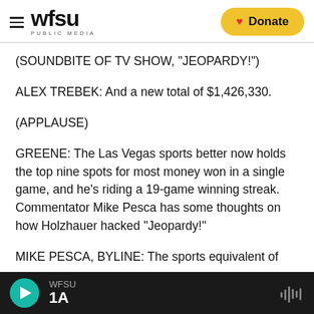WFSU PUBLIC MEDIA — Donate
(SOUNDBITE OF TV SHOW, "JEOPARDY!")
ALEX TREBEK: And a new total of $1,426,330.
(APPLAUSE)
GREENE: The Las Vegas sports better now holds the top nine spots for most money won in a single game, and he's riding a 19-game winning streak. Commentator Mike Pesca has some thoughts on how Holzhauer hacked "Jeopardy!"
MIKE PESCA, BYLINE: The sports equivalent of
WFSU 1A